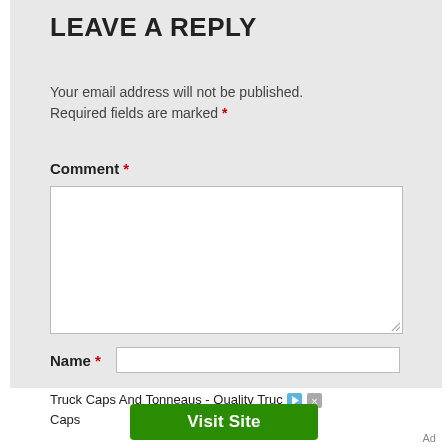LEAVE A REPLY
Your email address will not be published. Required fields are marked *
Comment *
[Figure (screenshot): Empty comment text area input box with resize handle]
Name *
[Figure (screenshot): Empty name text input field]
Truck Caps And Tonneaus - Quality Truc Caps
[Figure (screenshot): Green Visit Site button]
Ad